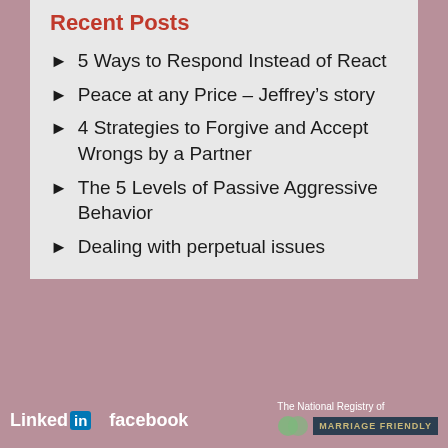Recent Posts
5 Ways to Respond Instead of React
Peace at any Price – Jeffrey's story
4 Strategies to Forgive and Accept Wrongs by a Partner
The 5 Levels of Passive Aggressive Behavior
Dealing with perpetual issues
LinkedIn  facebook  The National Registry of MARRIAGE FRIENDLY